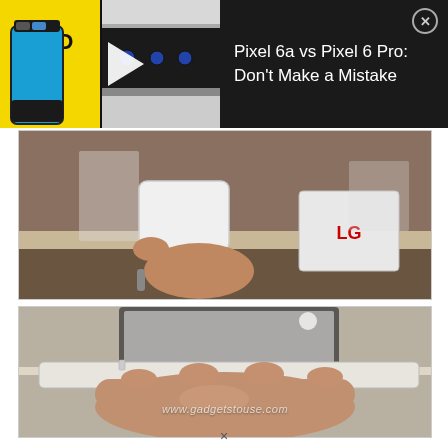[Figure (screenshot): Video thumbnail banner for 'Pixel 6a vs Pixel 6 Pro: Don't Make a Mistake' with yellow PRO VS A badge on left, phone image, play arrow, camera bar background, and white title text with close button on dark background]
[Figure (photo): Close-up photo of a hand holding a white device/charger near an LG display stand at what appears to be a tech trade show or retail environment]
[Figure (photo): Photo of a hand holding a thin white tablet/device sideways showing its slim profile, with a display stand visible in the background. Watermark reads www.gadgetstouse.com]
x